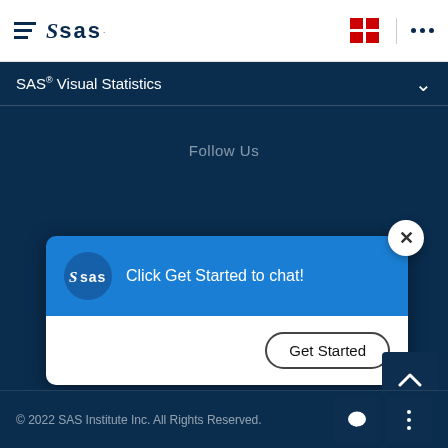SAS Visual Statistics
Follow Us
[Figure (screenshot): SAS chat popup widget with 'Click Get Started to chat!' message and a Get Started button]
© 2022 SAS Institute Inc. All Rights Reserved.